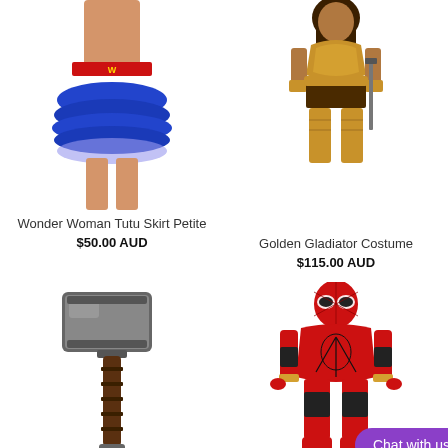[Figure (photo): Wonder Woman Tutu Skirt Petite costume product photo showing blue ruffled tutu skirt with red waistband]
[Figure (photo): Golden Gladiator Costume product photo showing woman in brown and gold warrior outfit holding a sword]
Wonder Woman Tutu Skirt Petite
$50.00 AUD
Golden Gladiator Costume
$115.00 AUD
[Figure (photo): Thor's Mjolnir hammer prop/accessory costume item]
[Figure (photo): Spider-Man costume in red and black with web pattern]
Chat with us